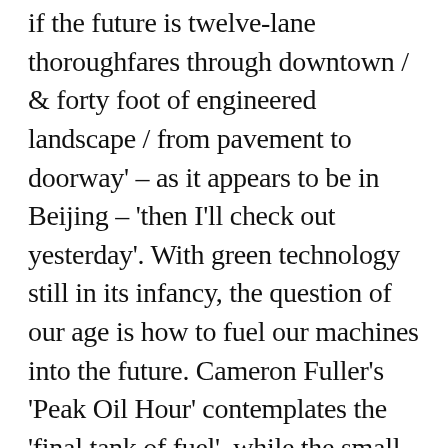if the future is twelve-lane thoroughfares through downtown / & forty foot of engineered landscape / from pavement to doorway' – as it appears to be in Beijing – 'then I'll check out yesterday'. With green technology still in its infancy, the question of our age is how to fuel our machines into the future. Cameron Fuller's 'Peak Oil Hour' contemplates the 'final tank of fuel', while the small boys at the end of Ross Donlon's 'Midsummer Night'